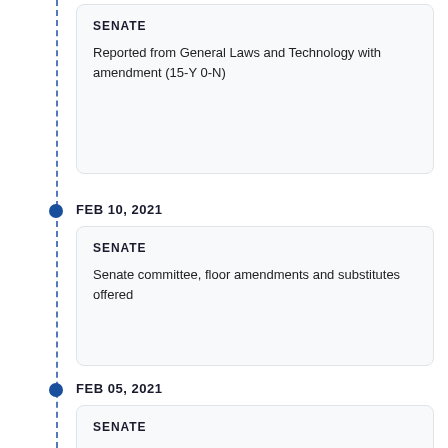SENATE
Reported from General Laws and Technology with amendment (15-Y 0-N)
FEB 10, 2021
SENATE
Senate committee, floor amendments and substitutes offered
FEB 05, 2021
SENATE
Continued to 2021 Sp. Sess. 1 in General Laws